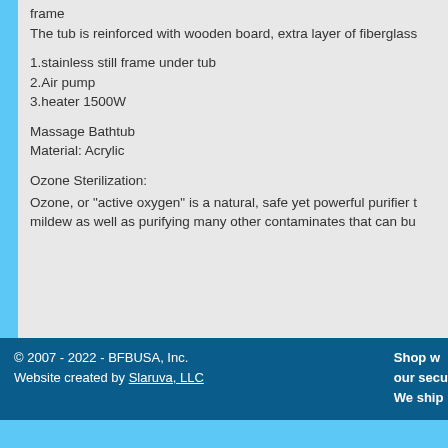frame
The tub is reinforced with wooden board, extra layer of fiberglass
1.stainless still frame under tub
2.Air pump
3.heater 1500W
Massage Bathtub
Material: Acrylic
Ozone Sterilization:
Ozone, or "active oxygen" is a natural, safe yet powerful purifier t mildew as well as purifying many other contaminates that can bu
© 2007 - 2022 - BFBUSA, Inc.
Website created by Slaruva, LLC
Shop w our secu We ship